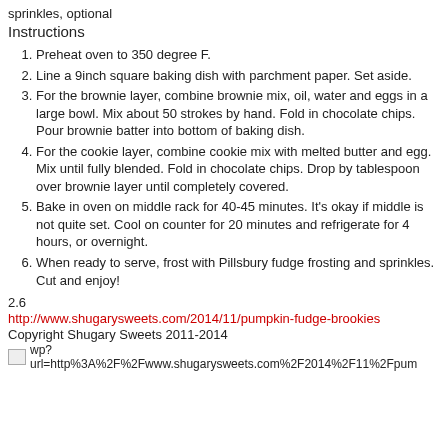sprinkles, optional
Instructions
Preheat oven to 350 degree F.
Line a 9inch square baking dish with parchment paper. Set aside.
For the brownie layer, combine brownie mix, oil, water and eggs in a large bowl. Mix about 50 strokes by hand. Fold in chocolate chips. Pour brownie batter into bottom of baking dish.
For the cookie layer, combine cookie mix with melted butter and egg. Mix until fully blended. Fold in chocolate chips. Drop by tablespoon over brownie layer until completely covered.
Bake in oven on middle rack for 40-45 minutes. It's okay if middle is not quite set. Cool on counter for 20 minutes and refrigerate for 4 hours, or overnight.
When ready to serve, frost with Pillsbury fudge frosting and sprinkles. Cut and enjoy!
2.6
http://www.shugarysweets.com/2014/11/pumpkin-fudge-brookies
Copyright Shugary Sweets 2011-2014
wp?
url=http%3A%2F%2Fwww.shugarysweets.com%2F2014%2F11%2Fpum